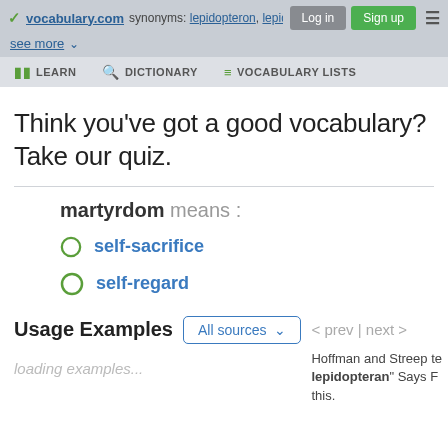synonyms: lepidopteron, lepidop... | Log in | Sign up | vocabulary.com
see more ▾
LEARN | DICTIONARY | VOCABULARY LISTS
Think you've got a good vocabulary? Take our quiz.
martyrdom means :
self-sacrifice
self-regard
Usage Examples
All sources
< prev | next >
loading examples...
Hoffman and Streep te
lepidopteran" Says F
this.